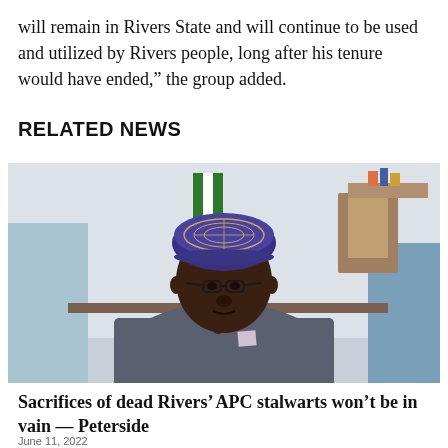will remain in Rivers State and will continue to be used and utilized by Rivers people, long after his tenure would have ended,” the group added.
RELATED NEWS
[Figure (photo): Portrait photo of a man wearing glasses and a traditional embroidered cap, dressed in a grey traditional attire, seated in an office setting with a Nigerian flag visible in the background.]
Sacrifices of dead Rivers’ APC stalwarts won’t be in vain — Peterside
June 11, 2022